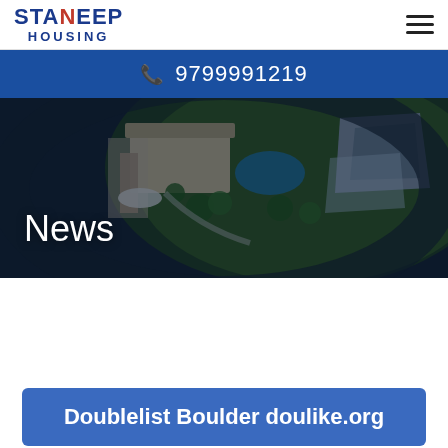STANDUP HOUSING
9799991219
[Figure (photo): Aerial view of a large residential property with swimming pool, manicured lawn, and waterfront dock area, shown from above in a circular/fisheye perspective. Dark water surrounds the green lawn.]
News
Doublelist Boulder doulike.org